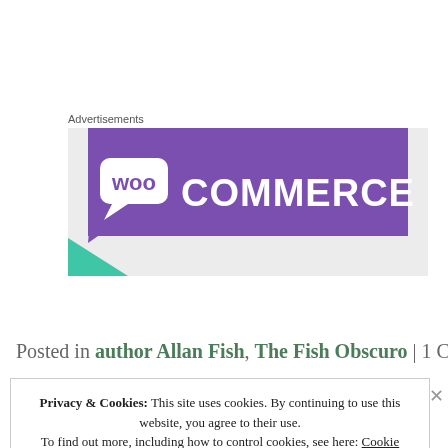Advertisements
[Figure (logo): WooCommerce advertisement banner with purple background and white WooCommerce logo text with speech-bubble 'Woo' icon, and a teal/green triangle accent at lower left on grey background.]
Continue Reading »
Posted in author Allan Fish, The Fish Obscuro | 1 Com…
Privacy & Cookies: This site uses cookies. By continuing to use this website, you agree to their use.
To find out more, including how to control cookies, see here: Cookie Policy
Close and accept